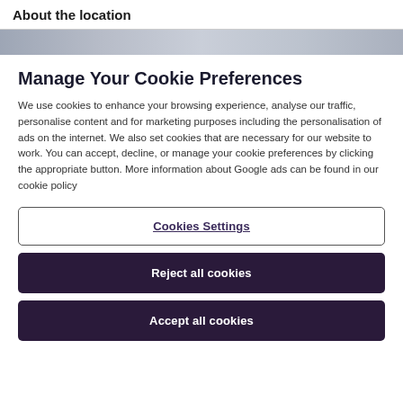About the location
[Figure (photo): Decorative banner strip image showing a muted landscape or pattern]
Manage Your Cookie Preferences
We use cookies to enhance your browsing experience, analyse our traffic, personalise content and for marketing purposes including the personalisation of ads on the internet. We also set cookies that are necessary for our website to work. You can accept, decline, or manage your cookie preferences by clicking the appropriate button. More information about Google ads can be found in our cookie policy
Cookies Settings
Reject all cookies
Accept all cookies